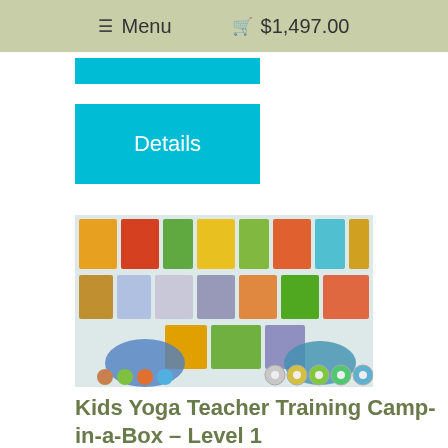Menu  $1,497.00
[Figure (screenshot): Cyan/blue button (partially visible, top)]
[Figure (screenshot): Cyan/blue Details button]
[Figure (photo): Product photo: Kids Yoga Teacher Training Camp-in-a-Box Level 1 kit spread out showing books, DVDs, cards, and materials on a white surface]
Kids Yoga Teacher Training Camp-in-a-Box – Level 1
[Figure (other): 5 orange/yellow star rating icons]
11 reviews
$747.00
Starting at $68/mo with affirm  Prequalify now